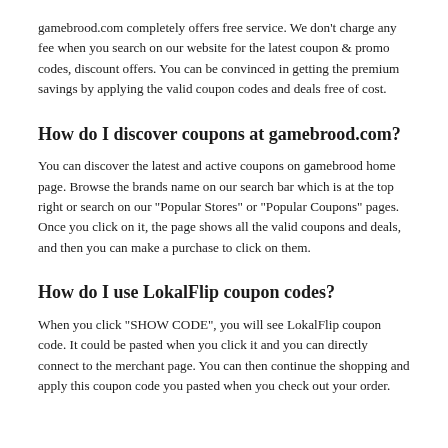gamebrood.com completely offers free service. We don't charge any fee when you search on our website for the latest coupon & promo codes, discount offers. You can be convinced in getting the premium savings by applying the valid coupon codes and deals free of cost.
How do I discover coupons at gamebrood.com?
You can discover the latest and active coupons on gamebrood home page. Browse the brands name on our search bar which is at the top right or search on our "Popular Stores" or "Popular Coupons" pages. Once you click on it, the page shows all the valid coupons and deals, and then you can make a purchase to click on them.
How do I use LokalFlip coupon codes?
When you click "SHOW CODE", you will see LokalFlip coupon code. It could be pasted when you click it and you can directly connect to the merchant page. You can then continue the shopping and apply this coupon code you pasted when you check out your order.